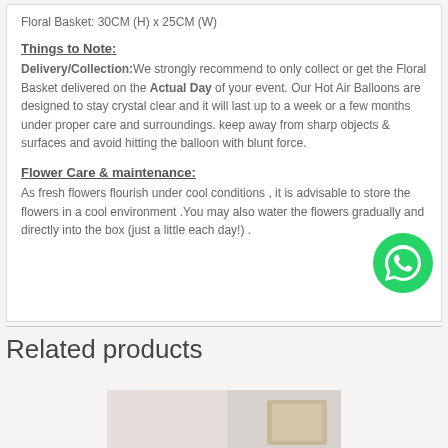Floral Basket: 30CM (H) x 25CM (W)
Things to Note:
Delivery/Collection: We strongly recommend to only collect or get the Floral Basket delivered on the Actual Day of your event. Our Hot Air Balloons are designed to stay crystal clear and it will last up to a week or a few months under proper care and surroundings. keep away from sharp objects & surfaces and avoid hitting the balloon with blunt force.
Flower Care & maintenance:
As fresh flowers flourish under cool conditions , it is advisable to store the flowers in a cool environment .You may also water the flowers gradually and directly into the box (just a little each day!) .
[Figure (logo): WhatsApp contact button - green circle with white WhatsApp phone icon]
Related products
[Figure (photo): Product image - partial view of a related product]